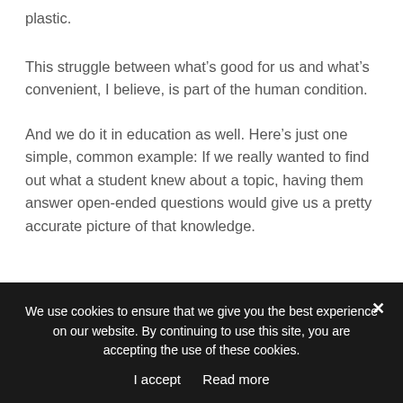plastic.
This struggle between what’s good for us and what’s convenient, I believe, is part of the human condition.
And we do it in education as well. Here’s just one simple, common example: If we really wanted to find out what a student knew about a topic, having them answer open-ended questions would give us a pretty accurate picture of that knowledge.
We use cookies to ensure that we give you the best experience on our website. By continuing to use this site, you are accepting the use of these cookies.
I accept   Read more